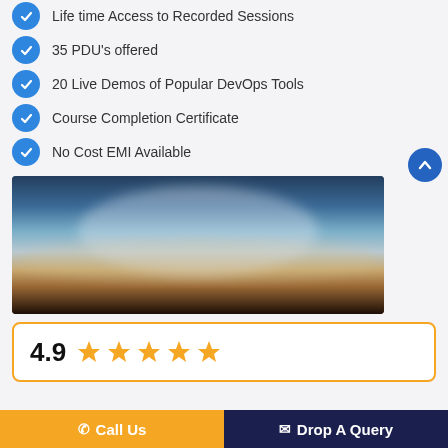Life time Access to Recorded Sessions
35 PDU's offered
20 Live Demos of Popular DevOps Tools
Course Completion Certificate
No Cost EMI Available
[Figure (photo): Blurred landscape/sky image used as a course thumbnail, showing gradient from dark teal sky to warm brownish-orange horizon and dark foreground]
4.9 (five star rating)
Call Us | Drop A Query